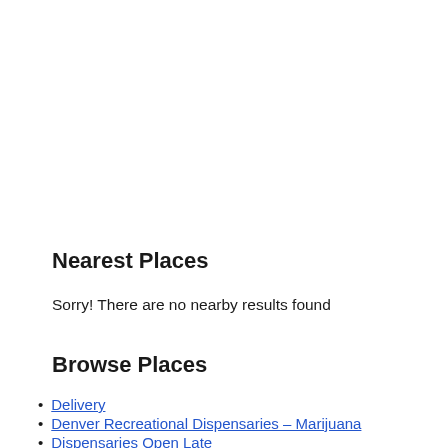Nearest Places
Sorry! There are no nearby results found
Browse Places
Delivery
Denver Recreational Dispensaries – Marijuana
Dispensaries Open Late
Medical Marijuana Dispensaries